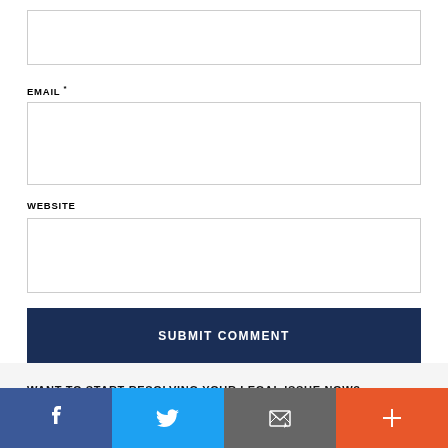(input box - top, partially visible)
EMAIL *
(email input box)
WEBSITE
(website input box)
SUBMIT COMMENT
WANT TO START RESOLVING YOUR LEGAL ISSUE NOW?
[Figure (other): Social share bar with Facebook, Twitter, Email, and Plus icons]